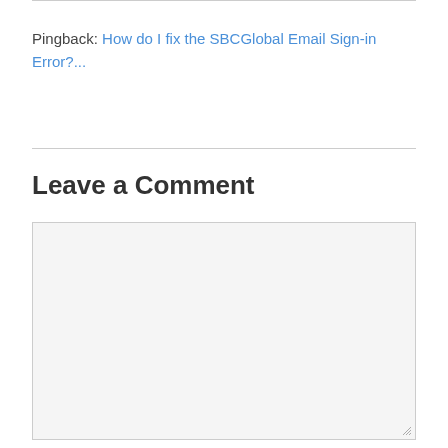Pingback: How do I fix the SBCGlobal Email Sign-in Error?...
Leave a Comment